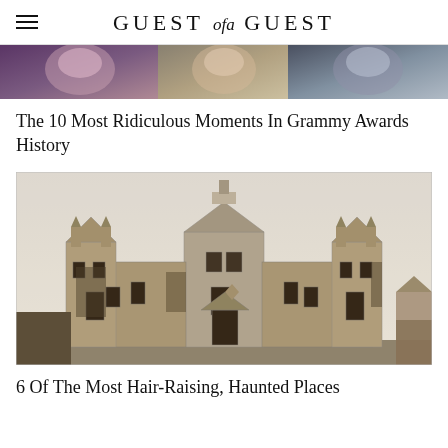GUEST of a GUEST
[Figure (photo): Top portion of an image showing multiple smiling women's faces, cropped at the top of the page]
The 10 Most Ridiculous Moments In Grammy Awards History
[Figure (photo): Black and white photograph of a large Gothic-style haunted mansion or castle with multiple turrets, spires, and ornate architectural details]
6 Of The Most Hair-Raising, Haunted Places